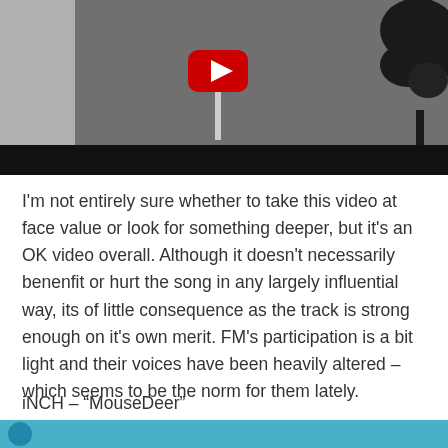[Figure (screenshot): YouTube video thumbnail showing a gray-scale scene with a flag pole, YouTube play button icon in red, dark tree silhouette on the right, and a black bar at the bottom]
I'm not entirely sure whether to take this video at face value or look for something deeper, but it's an OK video overall. Although it doesn't necessarily benenfit or hurt the song in any largely influential way, its of little consequence as the track is strong enough on it's own merit. FM's participation is a bit light and their voices have been heavily altered – which seems to be the norm for them lately.
iNCH – “MouseDeer”
[Figure (screenshot): Bottom portion of another video thumbnail with teal/blue background and a partial circular avatar]